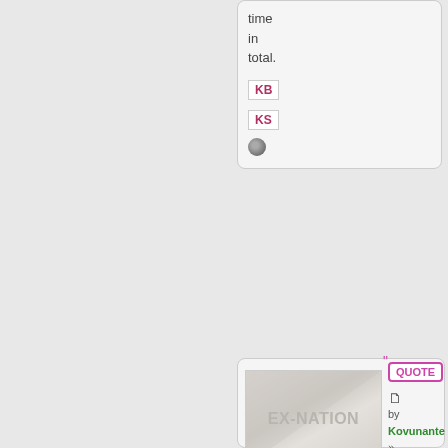time in total.
KB
KS
[Figure (illustration): Ex-Nation flag placeholder image with grey diagonal sections and EX-NATION text]
Kovunanto
Chargé d'Affaires
Posts: 364
Founded: Mar 24, 2022
Ex-Nation
QUOTE
by Kovunanto » Thu Apr 14, 2022 10:22 pm
OC Up 3: This is still an ong